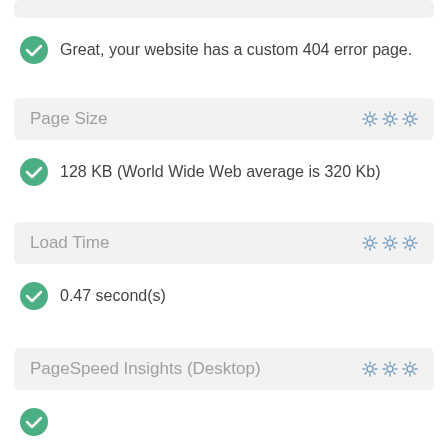Great, your website has a custom 404 error page.
Page Size
128 KB (World Wide Web average is 320 Kb)
Load Time
0.47 second(s)
PageSpeed Insights (Desktop)